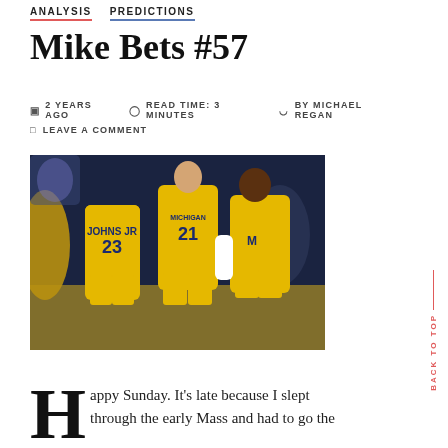ANALYSIS   PREDICTIONS
Mike Bets #57
2 YEARS AGO   READ TIME: 3 MINUTES   BY MICHAEL REGAN
LEAVE A COMMENT
[Figure (photo): Three Michigan basketball players in yellow jerseys (numbers 23 and 21) celebrating on the court]
BACK TO TOP
Happy Sunday. It's late because I slept through the early Mass and had to go the